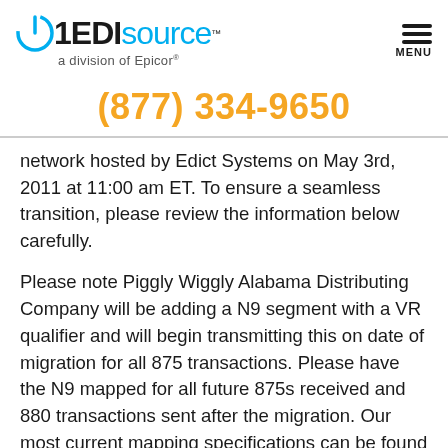[Figure (logo): 1EDISource logo with power button icon in blue, bold '1EDI' in black and 'source' in blue, with trademark symbol, and subtitle 'a division of Epicor']
(877) 334-9650
network hosted by Edict Systems on May 3rd, 2011 at 11:00 am ET. To ensure a seamless transition, please review the information below carefully.
Please note Piggly Wiggly Alabama Distributing Company will be adding a N9 segment with a VR qualifier and will begin transmitting this on date of migration for all 875 transactions. Please have the N9 mapped for all future 875s received and 880 transactions sent after the migration. Our most current mapping specifications can be found here.